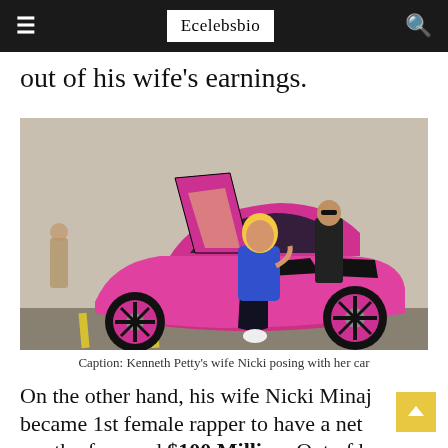Ecelebsbio
out of his wife's earnings.
[Figure (photo): Woman with blonde hair and blue top posing with a bright pink Lamborghini sports car with scissor doors open, in a parking lot. A man in a dark suit stands in the background.]
Caption: Kenneth Petty's wife Nicki posing with her car
On the other hand, his wife Nicki Minaj became 1st female rapper to have a net worth of around $100 Million. Out of her musical career, she has earned more than